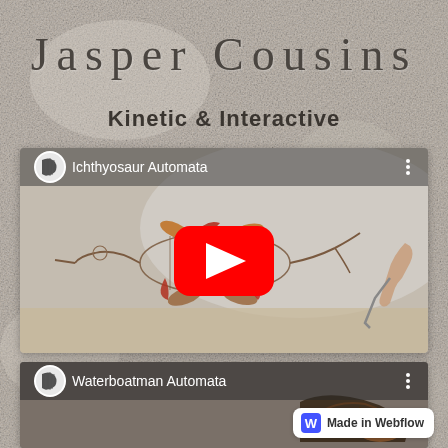Jasper Cousins
Kinetic & Interactive
[Figure (screenshot): YouTube video thumbnail for 'Ichthyosaur Automata' showing a wire/copper kinetic sculpture of a fish-like creature with a red YouTube play button overlay. A hand is visible on the right operating a crank. The video has a channel icon in the top left and three-dot menu in the top right.]
[Figure (screenshot): Partial YouTube video thumbnail for 'Waterboatman Automata' showing part of a dark insect-like automaton sculpture. Channel icon top left, three-dot menu top right.]
Made in Webflow